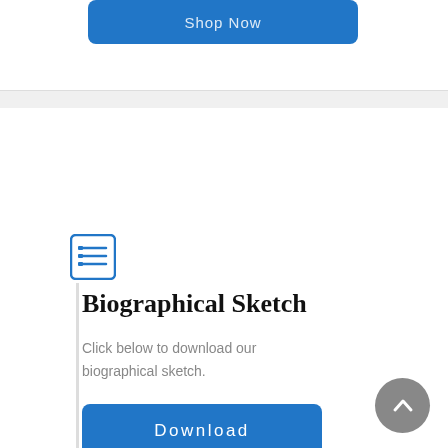[Figure (screenshot): Blue button partially visible at top of page with white text (Shop Now or similar)]
[Figure (illustration): Blue list/table icon in a rounded rectangle border]
Biographical Sketch
Click below to download our biographical sketch.
[Figure (screenshot): Blue Download button with white letter-spaced text]
[Figure (illustration): Grey circular scroll-to-top button with upward chevron arrow]